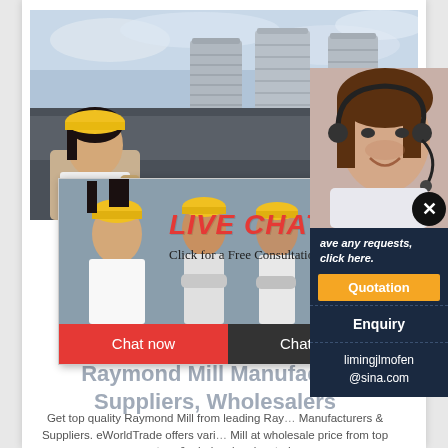[Figure (photo): Industrial photo showing large metallic grain silos/storage tanks against a cloudy sky, with a dark gray building wall in the foreground]
[Figure (screenshot): Live chat popup overlay with workers in yellow hard hats, showing 'LIVE CHAT' in red italic text, 'Click for a Free Consultation' subtitle, and two buttons: 'Chat now' (red) and 'Chat later' (dark gray)]
[Figure (screenshot): Right side panel popup with dark navy background showing text 'ave any requests, click here.', a gold 'Quotation' button, 'Enquiry' text, and contact email 'limingjlmofen@sina.com'. Also shows a woman with headset/microphone partially visible.]
Raymond Mill Manufacturers, Suppliers, Wholesalers
Get top quality Raymond Mill from leading Raymond Mill Manufacturers & Suppliers. eWorldTrade offers variety of Raymond Mill at wholesale price from top exporters & wholesalers located around the World.